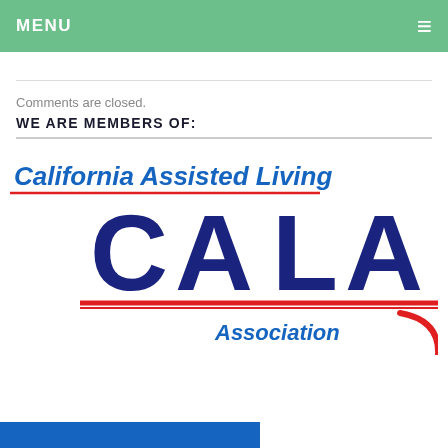MENU
Comments are closed.
WE ARE MEMBERS OF:
[Figure (logo): California Assisted Living Association (CALA) logo. Features the text 'California Assisted Living' in blue italic, large letters 'CALA' in bold dark blue with white outline, a red horizontal line, and 'Association' in blue italic with a red swoosh curve.]